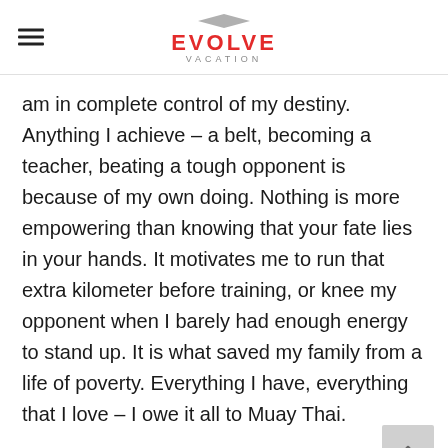EVOLVE VACATION
am in complete control of my destiny. Anything I achieve – a belt, becoming a teacher, beating a tough opponent is because of my own doing. Nothing is more empowering than knowing that your fate lies in your hands. It motivates me to run that extra kilometer before training, or knee my opponent when I barely had enough energy to stand up. It is what saved my family from a life of poverty. Everything I have, everything that I love – I owe it all to Muay Thai.
I started Muay Thai when I was 7 or 8 years